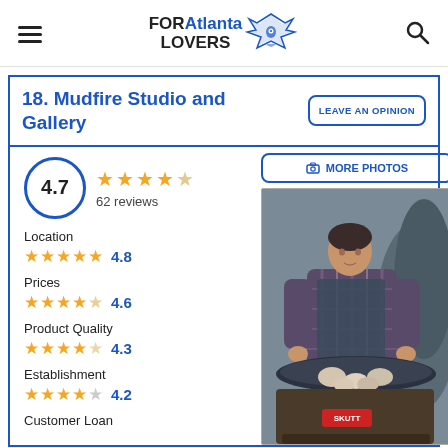FORAtlanta LOVERS
18. Mudfire Studio and Gallery
LEAVE AN OPINION
4.7 — 62 reviews
MORE PHOTOS
Location 4.8
Prices 4.6
Product Quality 4.3
Establishment 4.2
Customer Loan
[Figure (photo): A person working at a pottery kiln, loading ceramic pieces]